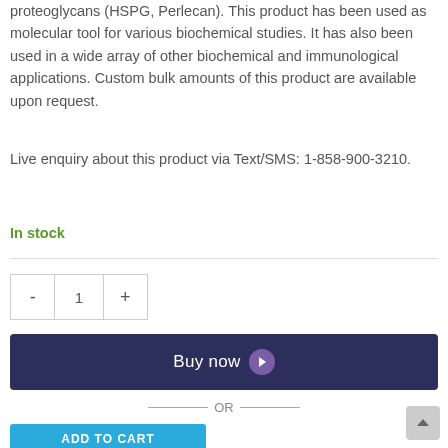proteoglycans (HSPG, Perlecan). This product has been used as molecular tool for various biochemical studies. It has also been used in a wide array of other biochemical and immunological applications. Custom bulk amounts of this product are available upon request.
Live enquiry about this product via Text/SMS: 1-858-900-3210.
In stock
- 1 +
Buy now
— OR —
ADD TO CART